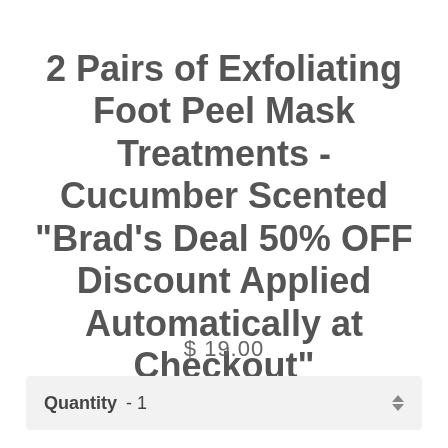2 Pairs of Exfoliating Foot Peel Mask Treatments - Cucumber Scented "Brad's Deal 50% OFF Discount Applied Automatically at Checkout"
$ 19.00
Quantity -  1